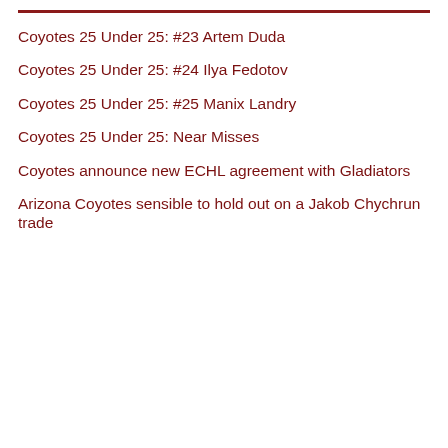Coyotes 25 Under 25: #23 Artem Duda
Coyotes 25 Under 25: #24 Ilya Fedotov
Coyotes 25 Under 25: #25 Manix Landry
Coyotes 25 Under 25: Near Misses
Coyotes announce new ECHL agreement with Gladiators
Arizona Coyotes sensible to hold out on a Jakob Chychrun trade